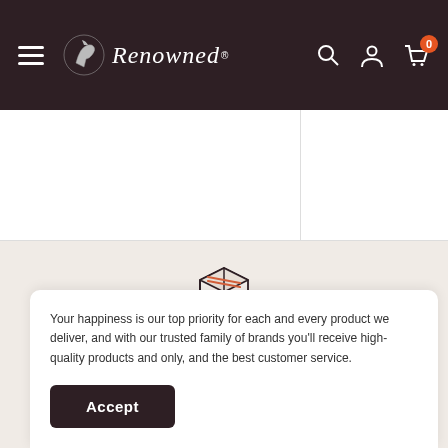Renowned — navigation bar with hamburger menu, logo, search, account, and cart (0 items)
[Figure (screenshot): Product image strip showing two white image boxes partially visible below the navigation bar]
[Figure (illustration): Box/package icon representing All India Delivery]
All India Delivery
Delivering gifts across India.
Your happiness is our top priority for each and every product we deliver, and with our trusted family of brands you'll receive high-quality products and only, and the best customer service.
Accept